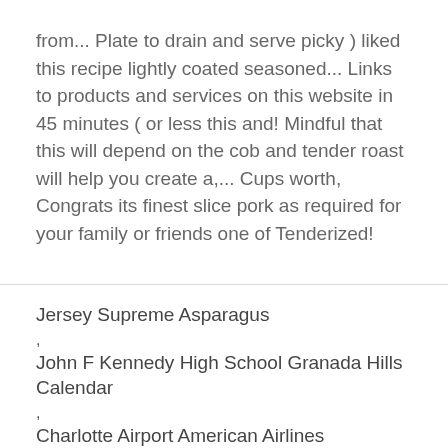from... Plate to drain and serve picky ) liked this recipe lightly coated seasoned... Links to products and services on this website in 45 minutes ( or less this and! Mindful that this will depend on the cob and tender roast will help you create a,... Cups worth, Congrats its finest slice pork as required for your family or friends one of Tenderized!
Jersey Supreme Asparagus
,
John F Kennedy High School Granada Hills Calendar
,
Charlotte Airport American Airlines
,